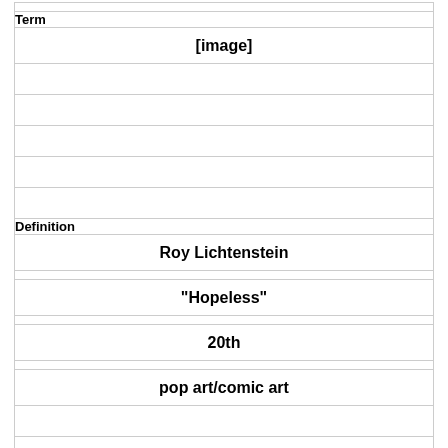| Term |
| [image] |
|  |
|  |
|  |
|  |
| Definition |
| Roy Lichtenstein |
| "Hopeless" |
| 20th |
| pop art/comic art |
|  |
|  |